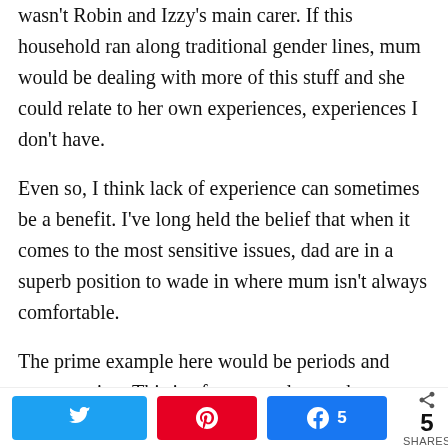wasn't Robin and Izzy's main carer. If this household ran along traditional gender lines, mum would be dealing with more of this stuff and she could relate to her own experiences, experiences I don't have.
Even so, I think lack of experience can sometimes be a benefit. I've long held the belief that when it comes to the most sensitive issues, dad are in a superb position to wade in where mum isn't always comfortable.
The prime example here would be periods and menstruation. This is often treated as a taboo subject and women aren't raised to discuss it